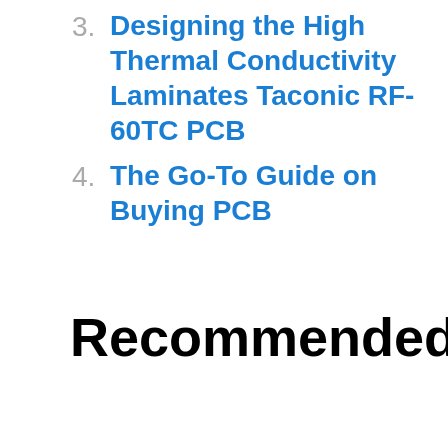3. Designing the High Thermal Conductivity Laminates Taconic RF-60TC PCB
4. The Go-To Guide on Buying PCB
Recommended Posts